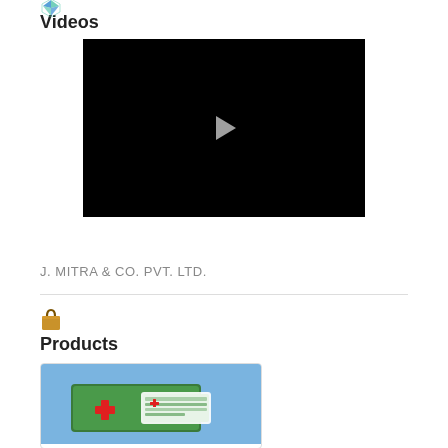Videos
[Figure (screenshot): Black video player with a gray play button in the center]
J. MITRA & CO. PVT. LTD.
Products
[Figure (photo): Product image showing a medical diagnostic kit/analyzer device with green and white packaging on a blue background]